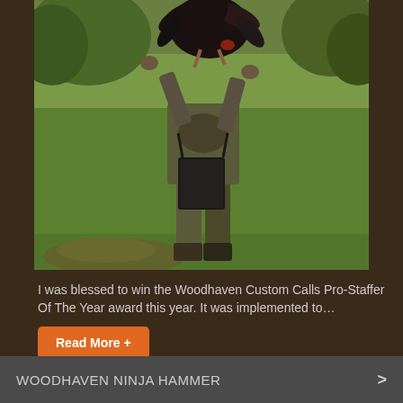[Figure (photo): A hunter in camouflage clothing standing in a green grassy field, holding up a harvested wild turkey with both arms raised above their head. The hunter is facing away from the camera and has a black bag/pouch hanging in front of them.]
I was blessed to win the Woodhaven Custom Calls Pro-Staffer Of The Year award this year. It was implemented to…
Read More +
WOODHAVEN NINJA HAMMER >